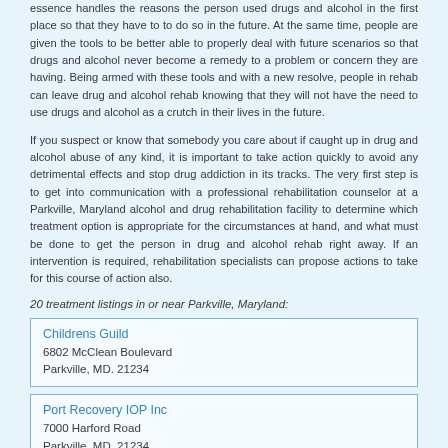essence handles the reasons the person used drugs and alcohol in the first place so that they have to to do so in the future. At the same time, people are given the tools to be better able to properly deal with future scenarios so that drugs and alcohol never become a remedy to a problem or concern they are having. Being armed with these tools and with a new resolve, people in rehab can leave drug and alcohol rehab knowing that they will not have the need to use drugs and alcohol as a crutch in their lives in the future.
If you suspect or know that somebody you care about if caught up in drug and alcohol abuse of any kind, it is important to take action quickly to avoid any detrimental effects and stop drug addiction in its tracks. The very first step is to get into communication with a professional rehabilitation counselor at a Parkville, Maryland alcohol and drug rehabilitation facility to determine which treatment option is appropriate for the circumstances at hand, and what must be done to get the person in drug and alcohol rehab right away. If an intervention is required, rehabilitation specialists can propose actions to take for this course of action also.
20 treatment listings in or near Parkville, Maryland:
Childrens Guild
6802 McClean Boulevard
Parkville, MD. 21234
Port Recovery IOP Inc
7000 Harford Road
Parkville, MD. 21234
Hart Group